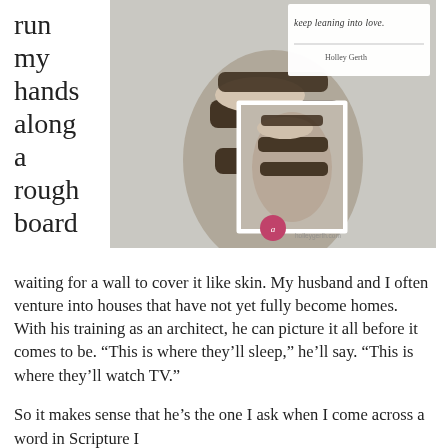run my hands along a rough board
[Figure (photo): Overhead photo of feet wearing dark leather sandals with buckle straps, on a light surface. A quote card overlay reads 'keep leaning into love. — Holley Gerth' with a smaller inset photo of the same sandals from a different angle. A pink circular logo/watermark is visible at the bottom center.]
waiting for a wall to cover it like skin. My husband and I often venture into houses that have not yet fully become homes. With his training as an architect, he can picture it all before it comes to be. “This is where they’ll sleep,” he’ll say. “This is where they’ll watch TV.”
So it makes sense that he’s the one I ask when I come across a word in Scripture I